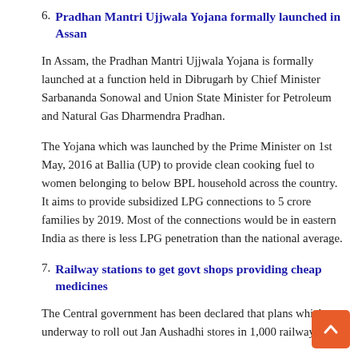6. Pradhan Mantri Ujjwala Yojana formally launched in Assan
In Assam, the Pradhan Mantri Ujjwala Yojana is formally launched at a function held in Dibrugarh by Chief Minister Sarbananda Sonowal and Union State Minister for Petroleum and Natural Gas Dharmendra Pradhan.
The Yojana which was launched by the Prime Minister on 1st May, 2016 at Ballia (UP) to provide clean cooking fuel to women belonging to below BPL household across the country. It aims to provide subsidized LPG connections to 5 crore families by 2019. Most of the connections would be in eastern India as there is less LPG penetration than the national average.
7. Railway stations to get govt shops providing cheap medicines
The Central government has been declared that plans which are underway to roll out Jan Aushadhi stores in 1,000 railway statio